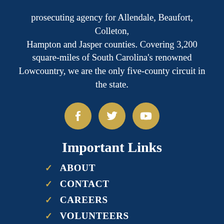prosecuting agency for Allendale, Beaufort, Colleton, Hampton and Jasper counties. Covering 3,200 square-miles of South Carolina's renowned Lowcountry, we are the only five-county circuit in the state.
[Figure (infographic): Three gold circular social media icons: Facebook, Twitter, YouTube]
Important Links
ABOUT
CONTACT
CAREERS
VOLUNTEERS